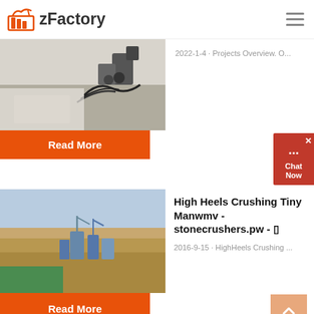zFactory
[Figure (photo): Industrial machinery and cables at a construction or mining site, partial view at top of page]
2022-1-4 · Projects Overview. O...
Read More
[Figure (photo): Open-pit quarry or mining operation with heavy equipment and blue sky]
High Heels Crushing Tiny Manwmv - stonecrushers.pw - □
2016-9-15 · HighHeels Crushing ...
Read More